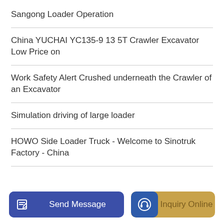Sangong Loader Operation
China YUCHAI YC135-9 13 5T Crawler Excavator Low Price on
Work Safety Alert Crushed underneath the Crawler of an Excavator
Simulation driving of large loader
HOWO Side Loader Truck - Welcome to Sinotruk Factory - China
[Figure (other): Two buttons at bottom: blue 'Send Message' button with edit icon on left, and gold/blue 'Inquiry Online' button with headset icon on right]